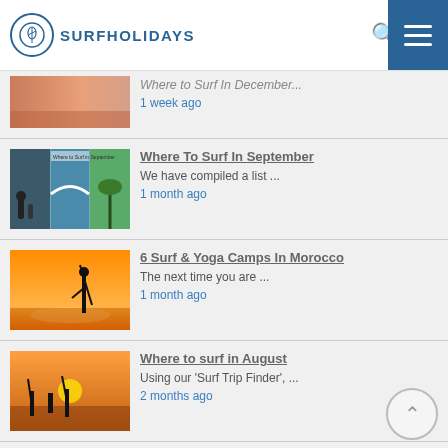SURFHOLIDAYS
[Figure (screenshot): Partial article thumbnail: Where to Surf in December, beach/sunset image, cropped]
Where to Surf in December...
1 week ago
[Figure (photo): Where To Surf In September article thumbnail: collage of surfing/yoga/beach images]
Where To Surf In September
We have compiled a list ...
1 month ago
[Figure (photo): 6 Surf & Yoga Camps In Morocco article thumbnail: silhouette of person with surfboard at sunset]
6 Surf & Yoga Camps In Morocco
The next time you are ...
1 month ago
[Figure (photo): Where to surf in August article thumbnail: group of surfers walking on beach at sunset]
Where to surf in August
Using our 'Surf Trip Finder', ...
2 months ago
[Figure (photo): Where to Surf in July article thumbnail: surfer and building]
Where to Surf in July
Using our 'Surf Trip Finder', ...